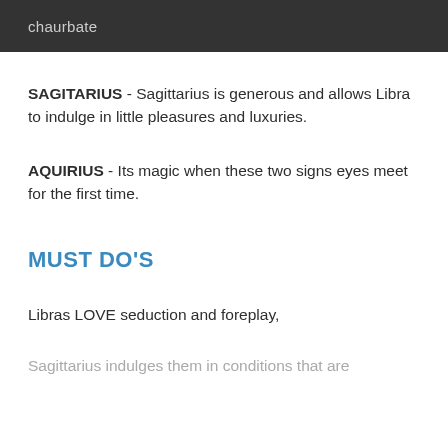chaurbate
SAGITARIUS - Sagittarius is generous and allows Libra to indulge in little pleasures and luxuries.
AQUIRIUS - Its magic when these two signs eyes meet for the first time.
MUST DO'S
Libras LOVE seduction and foreplay,
Sagittarius indulges them in conditions that are...